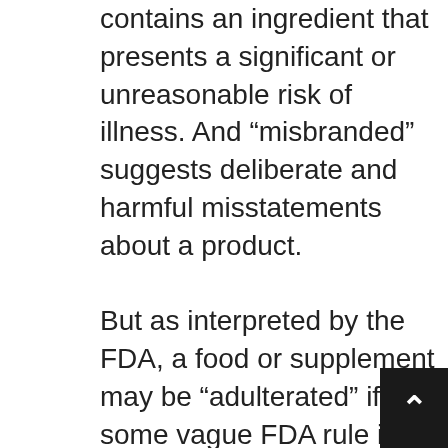contains an ingredient that presents a significant or unreasonable risk of illness. And “misbranded” suggests deliberate and harmful misstatements about a product.
But as interpreted by the FDA, a food or supplement may be “adulterated” if some vague FDA rule is deemed by the FDA not to have been followed. “Misbranded” can mean that the producer makes a completely true statement about the product but without FDA permission. A cherry producer who cites peer-reviewed scientific research from prestigious universities on the health benefits of cherries would, in FDA-speak, have engaged in “false” and actionable “misbranding” which suddenly turns the cherries into drugs. Producers, of course, have the right to take cherries through the new drug approval process!
Until Congress fixes these interpretations of